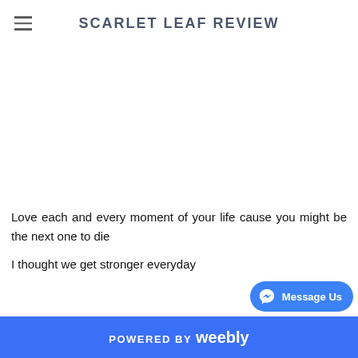SCARLET LEAF REVIEW
Love each and every moment of your life cause you might be the next one to die
I thought we get stronger everyday
POWERED BY weebly